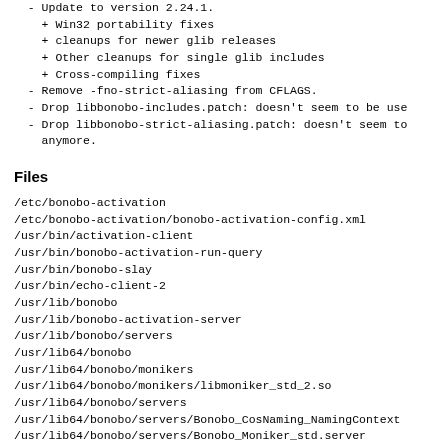- Update to version 2.24.1:
+ Win32 portability fixes
+ cleanups for newer glib releases
+ Other cleanups for single glib includes
+ Cross-compiling fixes
- Remove -fno-strict-aliasing from CFLAGS.
- Drop libbonobo-includes.patch: doesn't seem to be use
- Drop libbonobo-strict-aliasing.patch: doesn't seem to
  anymore.
Files
/etc/bonobo-activation
/etc/bonobo-activation/bonobo-activation-config.xml
/usr/bin/activation-client
/usr/bin/bonobo-activation-run-query
/usr/bin/bonobo-slay
/usr/bin/echo-client-2
/usr/lib/bonobo
/usr/lib/bonobo-activation-server
/usr/lib/bonobo/servers
/usr/lib64/bonobo
/usr/lib64/bonobo/monikers
/usr/lib64/bonobo/monikers/libmoniker_std_2.so
/usr/lib64/bonobo/servers
/usr/lib64/bonobo/servers/Bonobo_CosNaming_NamingContext
/usr/lib64/bonobo/servers/Bonobo_Moniker_std.server
/usr/lib64/bonobo/servers/Bonobo_Sample_Echo.server
/usr/lib64/libbonobo-2.so.0